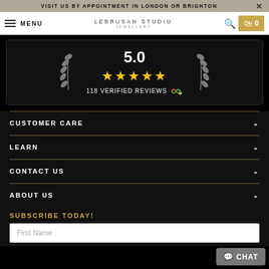VISIT US BY APPOINTMENT IN LONDON OR BRIGHTON
[Figure (screenshot): Lebrusan Studio jewellery website navigation bar with menu, logo, search and cart icons]
[Figure (infographic): Review widget showing 5.0 rating, 5 gold stars, and 118 VERIFIED REVIEWS with laurel wreaths on either side]
CUSTOMER CARE
LEARN
CONTACT US
ABOUT US
SUBSCRIBE TODAY!
First Name